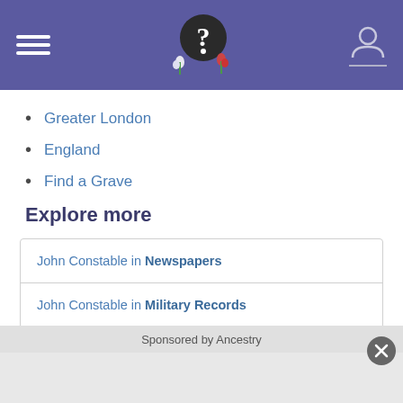Header with hamburger menu, logo, and user icon
Greater London
England
Find a Grave
Explore more
John Constable in Newspapers
John Constable in Military Records
View more records for John Constable at Ancestry.com
Discover more with a simple DNA test
More about the Constable family name
Sponsored by Ancestry